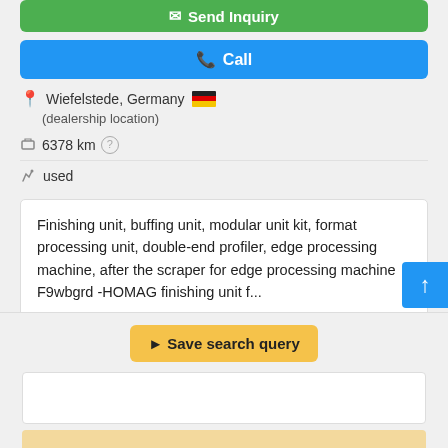[Figure (screenshot): Green 'Send Inquiry' button (partially visible at top)]
[Figure (screenshot): Blue 'Call' button]
Wiefelstede, Germany (dealership location)
6378 km
used
Finishing unit, buffing unit, modular unit kit, format processing unit, double-end profiler, edge processing machine, after the scraper for edge processing machine F9wbgrd -HOMAG finishing unit f...
[Figure (screenshot): Blue FAB scroll-to-top button]
[Figure (screenshot): Yellow 'Save search query' button]
[Figure (screenshot): White card with yellow sub-card at bottom section]